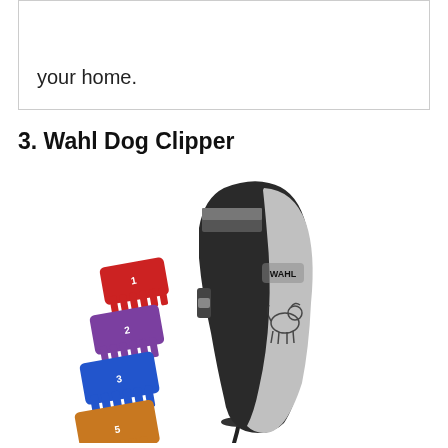your home.
3. Wahl Dog Clipper
[Figure (photo): Wahl Dog Clipper product photo showing a black and silver electric hair clipper with the Wahl logo and a dog silhouette on the body, accompanied by four colored comb attachments: red, purple, blue, and orange/tan, arranged in a diagonal stack to the left of the clipper.]